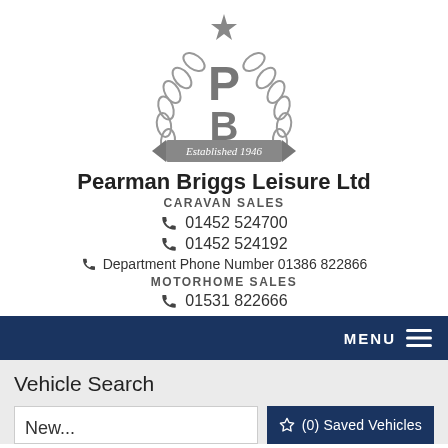[Figure (logo): Pearman Briggs Leisure Ltd logo — circular wreath with PB monogram and star, banner reading 'Established 1946', grey tones]
Pearman Briggs Leisure Ltd
CARAVAN SALES
📞 01452 524700
📞 01452 524192
📞 Department Phone Number 01386 822866
MOTORHOME SALES
📞 01531 822666
MENU ☰
Vehicle Search
☆ (0) Saved Vehicles